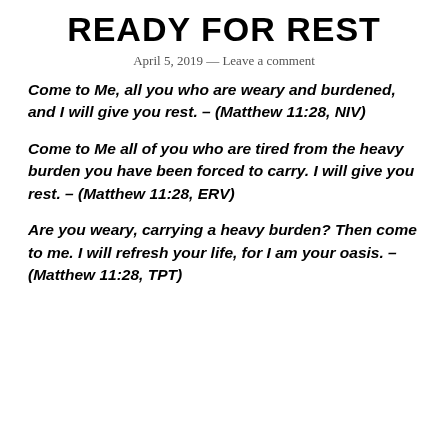READY FOR REST
April 5, 2019 — Leave a comment
Come to Me, all you who are weary and burdened, and I will give you rest. – (Matthew 11:28, NIV)
Come to Me all of you who are tired from the heavy burden you have been forced to carry. I will give you rest. – (Matthew 11:28, ERV)
Are you weary, carrying a heavy burden? Then come to me. I will refresh your life, for I am your oasis. – (Matthew 11:28, TPT)